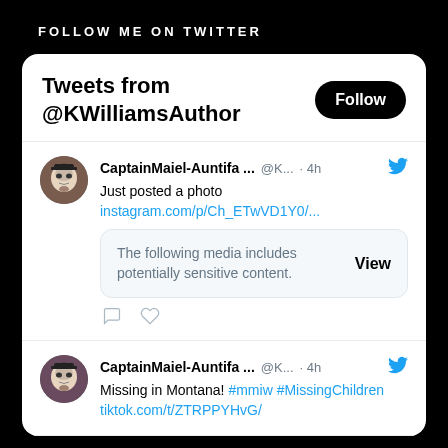FOLLOW ME ON TWITTER
Tweets from @KWilliamsAuthor
CaptainMaiel-Auntifa ... @K... · 4h
Just posted a photo
instagram.com/p/Ch_ETwVD1Y0/...
The following media includes potentially sensitive content. View
CaptainMaiel-Auntifa ... @K... · 4h
Missing in Montana! #mmiw #MissingChildren
tiktok.com/t/ZTRPPYHvG/